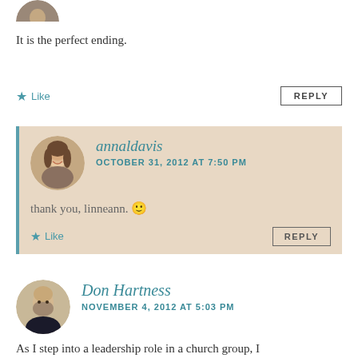[Figure (photo): Partial avatar image at the top, cropped circle showing bottom portion of a face/head]
It is the perfect ending.
★ Like
REPLY
[Figure (photo): Circular avatar photo of a woman (annaldavis)]
annaldavis
OCTOBER 31, 2012 AT 7:50 PM
thank you, linneann. 🙂
★ Like
REPLY
[Figure (photo): Circular avatar photo of a man (Don Hartness)]
Don Hartness
NOVEMBER 4, 2012 AT 5:03 PM
As I step into a leadership role in a church group, I